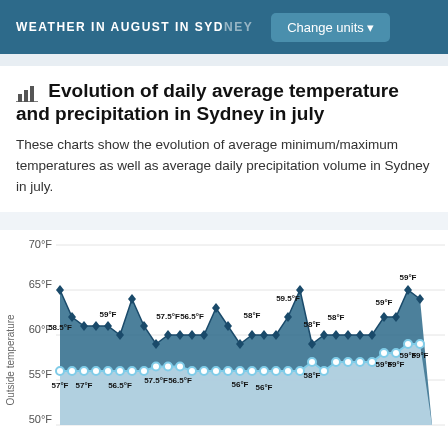WEATHER IN AUGUST IN SYDNEY | Change units
Evolution of daily average temperature and precipitation in Sydney in july
These charts show the evolution of average minimum/maximum temperatures as well as average daily precipitation volume in Sydney in july.
[Figure (area-chart): Evolution of daily average temperature in Sydney in july]